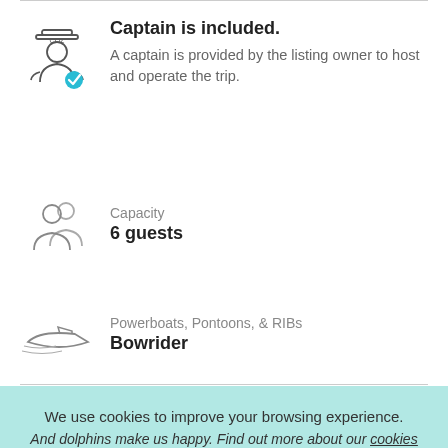[Figure (illustration): Captain icon with blue checkmark badge]
Captain is included.
A captain is provided by the listing owner to host and operate the trip.
[Figure (illustration): Two people/guests icon]
Capacity
6 guests
[Figure (illustration): Speedboat/powerboat icon]
Powerboats, Pontoons, & RIBs
Bowrider
We use cookies to improve your browsing experience.
And dolphins make us happy. Find out more about our cookies policy here.
Close